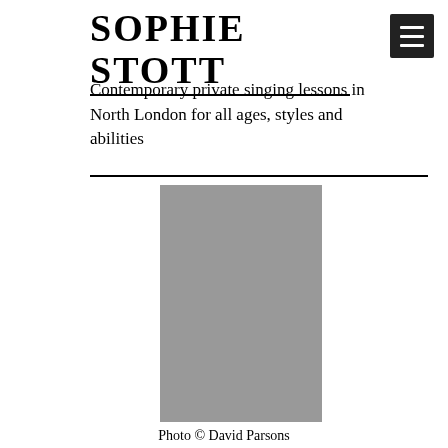SOPHIE STOTT
Contemporary private singing lessons in North London for all ages, styles and abilities
[Figure (photo): Portrait photograph of Sophie Stott (shown as grey placeholder)]
Photo © David Parsons